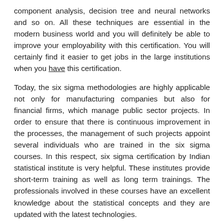component analysis, decision tree and neural networks and so on. All these techniques are essential in the modern business world and you will definitely be able to improve your employability with this certification. You will certainly find it easier to get jobs in the large institutions when you have this certification.
Today, the six sigma methodologies are highly applicable not only for manufacturing companies but also for financial firms, which manage public sector projects. In order to ensure that there is continuous improvement in the processes, the management of such projects appoint several individuals who are trained in the six sigma courses. In this respect, six sigma certification by Indian statistical institute is very helpful. These institutes provide short-term training as well as long term trainings. The professionals involved in these courses have an excellent knowledge about the statistical concepts and they are updated with the latest technologies.